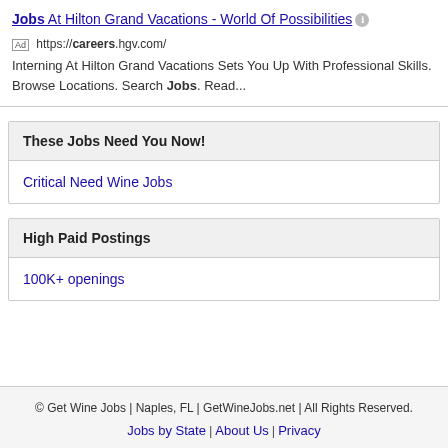Jobs At Hilton Grand Vacations - World Of Possibilities
https://careers.hgv.com/
Interning At Hilton Grand Vacations Sets You Up With Professional Skills. Browse Locations. Search Jobs. Read...
These Jobs Need You Now!
Critical Need Wine Jobs
High Paid Postings
100K+ openings
© Get Wine Jobs | Naples, FL | GetWineJobs.net | All Rights Reserved.
Jobs by State | About Us | Privacy